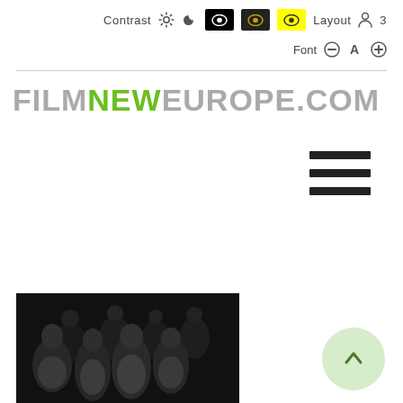Contrast  Layout  Font
[Figure (screenshot): Website accessibility toolbar showing Contrast, gear icon, moon icon, three eye icons (black, dark, yellow/highlighted), Layout, person icon, 3, Font, minus, A, plus controls]
FILMNEWEUROPE.COM
[Figure (illustration): Hamburger menu icon with three horizontal black bars]
[Figure (photo): Group photo of approximately 7-8 young people dressed casually in white t-shirts, some wearing beanies, against a dark background]
[Figure (illustration): Circular scroll-to-top button with upward chevron arrow, light green/mint color]